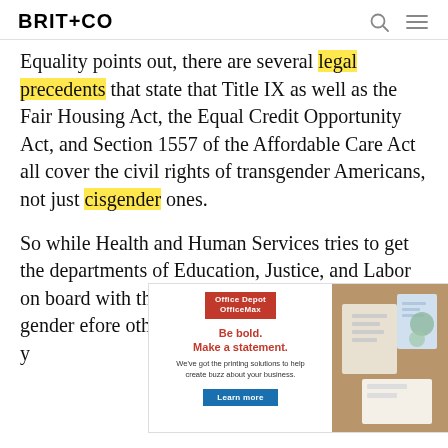BRIT+CO
Equality points out, there are several legal precedents that state that Title IX as well as the Fair Housing Act, the Equal Credit Opportunity Act, and Section 1557 of the Affordable Care Act all cover the civil rights of transgender Americans, not just cisgender ones.
So while Health and Human Services tries to get the departments of Education, Justice, and Labor on board with their narrowing definition of gender ... before other ... ber that yo ... n
[Figure (other): Office Depot OfficeMax advertisement: 'Be bold. Make a statement. We've got the printing solutions to help create buzz about your business.' with a Learn more button and an image of stationery/office supplies.]